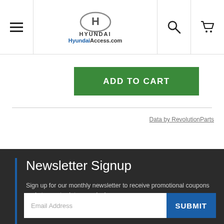HyundaiAccess.com
ADD TO CART
Data by RevolutionParts
Newsletter Signup
Sign up for our monthly newsletter to receive promotional coupons and stay up to date on sales!
Email Address
SUBMIT
My Account
My Cart
Sign In